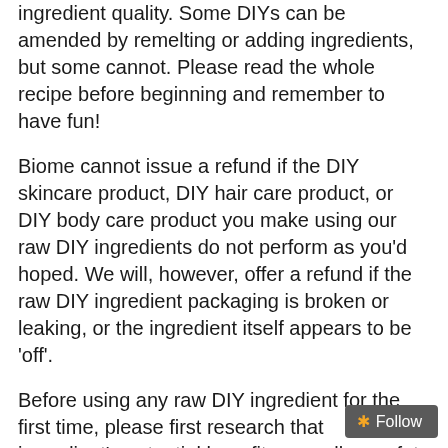ingredient quality. Some DIYs can be amended by remelting or adding ingredients, but some cannot. Please read the whole recipe before beginning and remember to have fun!
Biome cannot issue a refund if the DIY skincare product, DIY hair care product, or DIY body care product you make using our raw DIY ingredients do not perform as you'd hoped. We will, however, offer a refund if the raw DIY ingredient packaging is broken or leaking, or the ingredient itself appears to be 'off'.
Before using any raw DIY ingredient for the first time, please first research that ingredient's potential benefits as well as safety precautions and possible side effects. Check with your medical professional if you have any concerns.